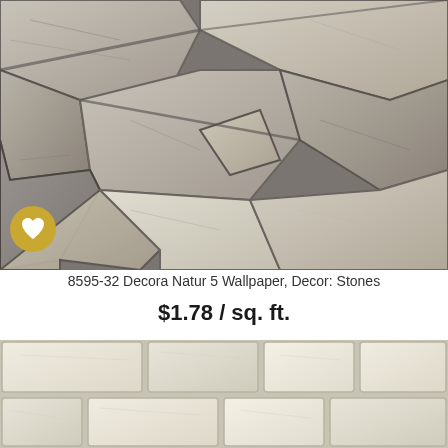[Figure (photo): Close-up photo of a rustic stone wall wallpaper with irregularly shaped stones in grey and beige tones]
8595-32 Decora Natur 5 Wallpaper, Decor: Stones
$1.78 / sq. ft.
[Figure (photo): Close-up photo of a lighter cream/beige stone wall wallpaper with more uniform rectangular stone blocks]